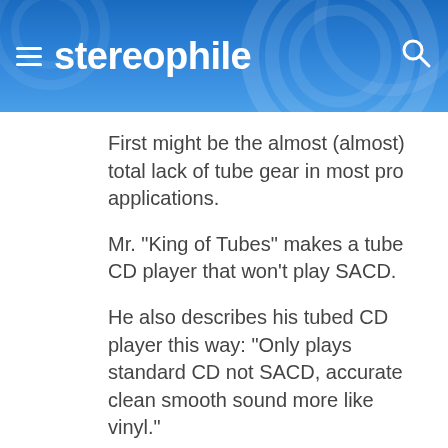stereophile
First might be the almost (almost) total lack of tube gear in most pro applications.
Mr. "King of Tubes" makes a tube CD player that won't play SACD.
He also describes his tubed CD player this way: "Only plays standard CD not SACD, accurate clean smooth sound more like vinyl."
More like vinyl?